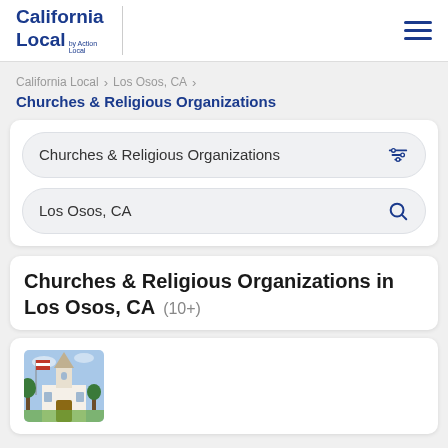California Local by Action Local
California Local > Los Osos, CA > Churches & Religious Organizations
Churches & Religious Organizations
Los Osos, CA
Churches & Religious Organizations in Los Osos, CA (10+)
[Figure (photo): Photo of a church building with a steeple and flag in Los Osos, CA]